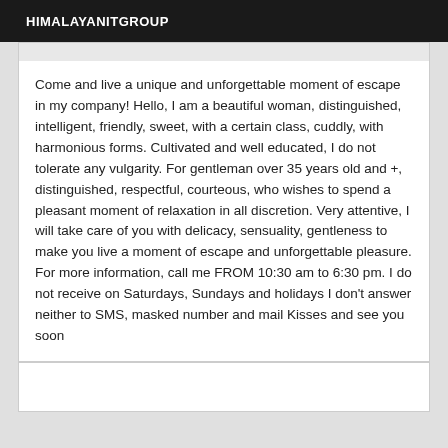HIMALAYANITGROUP
Come and live a unique and unforgettable moment of escape in my company! Hello, I am a beautiful woman, distinguished, intelligent, friendly, sweet, with a certain class, cuddly, with harmonious forms. Cultivated and well educated, I do not tolerate any vulgarity. For gentleman over 35 years old and +, distinguished, respectful, courteous, who wishes to spend a pleasant moment of relaxation in all discretion. Very attentive, I will take care of you with delicacy, sensuality, gentleness to make you live a moment of escape and unforgettable pleasure. For more information, call me FROM 10:30 am to 6:30 pm. I do not receive on Saturdays, Sundays and holidays I don't answer neither to SMS, masked number and mail Kisses and see you soon